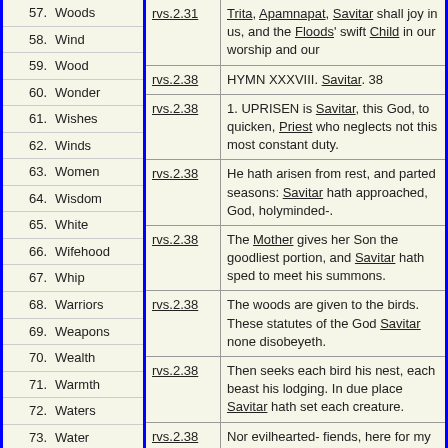| No. | Topic | Reference | Text |
| --- | --- | --- | --- |
| 57. | Woods |  | Trita, Apamnapat, Savitar shall joy in us, and the Floods' swift Child in our worship and our |
| 58. | Wind | rvs.2.31 |  |
| 59. | Wood |  | HYMN XXXVIII. Savitar. 38 |
| 60. | Wonder | rvs.2.38 |  |
| 61. | Wishes | rvs.2.38 | 1. UPRISEN is Savitar, this God, to quicken, Priest who neglects not this most constant duty. |
| 62. | Winds |  |  |
| 63. | Women | rvs.2.38 | He hath arisen from rest, and parted seasons: Savitar hath approached, God, holyminded-. |
| 64. | Wisdom |  |  |
| 65. | White | rvs.2.38 | The Mother gives her Son the goodliest portion, and Savitar hath sped to meet his summons. |
| 66. | Wifehood |  |  |
| 67. | Whip | rvs.2.38 | The woods are given to the birds. These statutes of the God Savitar none disobeyeth. |
| 68. | Warriors |  |  |
| 69. | Weapons | rvs.2.38 | Then seeks each bird his nest, each beast his lodging. In due place Savitar hath set each creature. |
| 70. | Wealth |  |  |
| 71. | Warmth | rvs.2.38 | Nor evilhearted- fiends, here for my welfare him I invoke, God Savitar, with worship. |
| 72. | Waters |  |  |
| 73. | Water | rvs.2.38 | That good may come to us and wealth be gathered, may we be Savitar the Gods' beloved. |
| 74. | Warriors |  |  |
| 75. | Vyatya |  | That it be well with friends and those... |
| 76. | War |  |  |
| 77. | Vyasva |  |  |
| 78. | Vrtras |  |  |